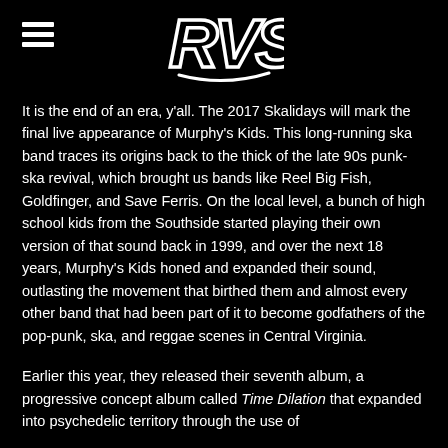RVS logo and hamburger menu
It is the end of an era, y'all. The 2017 Skalidays will mark the final live appearance of Murphy's Kids. This long-running ska band traces its origins back to the thick of the late 90s punk-ska revival, which brought us bands like Reel Big Fish, Goldfinger, and Save Ferris. On the local level, a bunch of high school kids from the Southside started playing their own version of that sound back in 1999, and over the next 18 years, Murphy's Kids honed and expanded their sound, outlasting the movement that birthed them and almost every other band that had been part of it to become godfathers of the pop-punk, ska, and reggae scenes in Central Virginia.
Earlier this year, they released their seventh album, a progressive concept album called Time Dilation that expanded into psychedelic territory through the use of